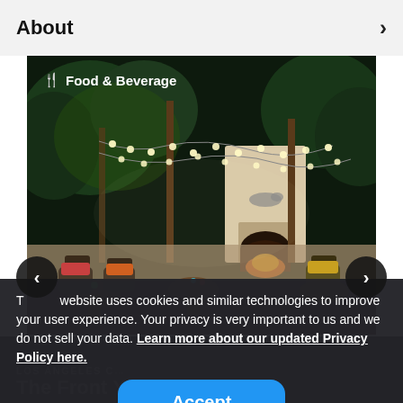About
[Figure (photo): Outdoor patio restaurant at night with string lights, a white fireplace, wicker chairs, colorful cushions, and lush trees. Overlay label reads: Food & Beverage]
This website uses cookies and similar technologies to improve your user experience. Your privacy is very important to us and we do not sell your data. Learn more about our updated Privacy Policy here.
Accept
LOS ANGELES C...
The Front Yard